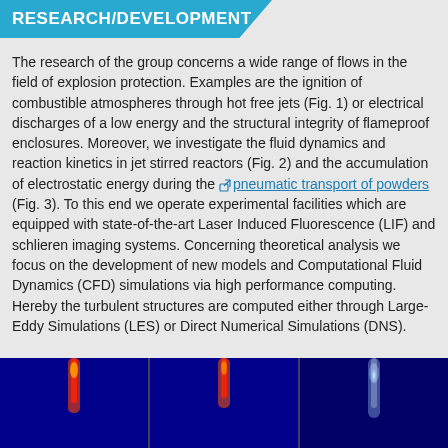RESEARCH/DEVELOPMENT
The research of the group concerns a wide range of flows in the field of explosion protection. Examples are the ignition of combustible atmospheres through hot free jets (Fig. 1) or electrical discharges of a low energy and the structural integrity of flameproof enclosures. Moreover, we investigate the fluid dynamics and reaction kinetics in jet stirred reactors (Fig. 2) and the accumulation of electrostatic energy during the pneumatic transport of powders (Fig. 3). To this end we operate experimental facilities which are equipped with state-of-the-art Laser Induced Fluorescence (LIF) and schlieren imaging systems. Concerning theoretical analysis we focus on the development of new models and Computational Fluid Dynamics (CFD) simulations via high performance computing. Hereby the turbulent structures are computed either through Large-Eddy Simulations (LES) or Direct Numerical Simulations (DNS).
[Figure (photo): Three side-by-side false-color LIF or schlieren images showing turbulent jet flows on a dark blue background with hot regions highlighted in red, orange, and yellow colors.]